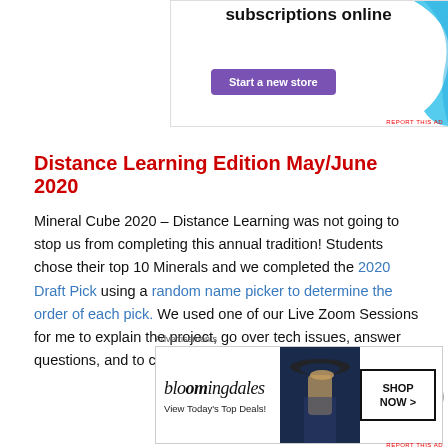[Figure (screenshot): Top advertisement banner for selling subscriptions online with a purple 'Start a new store' button and a cyan/blue wavy shape decoration on the right.]
Distance Learning Edition May/June 2020
Mineral Cube 2020 – Distance Learning was not going to stop us from completing this annual tradition! Students chose their top 10 Minerals and we completed the 2020 Draft Pick using a random name picker to determine the order of each pick. We used one of our Live Zoom Sessions for me to explain the project, go over tech issues, answer questions, and to complete the draft pick.
[Figure (screenshot): Bottom advertisement banner for Bloomingdale's with 'View Today's Top Deals!' text, a woman with a large hat, and a SHOP NOW button.]